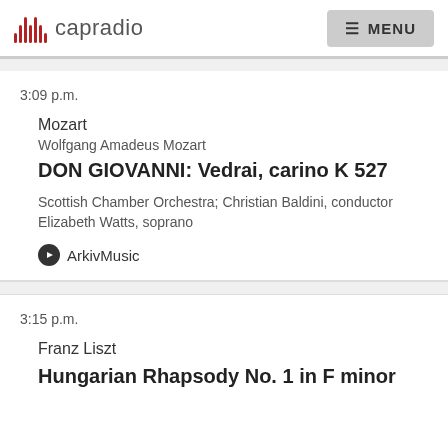capradio MENU
3:09 p.m.
Mozart
Wolfgang Amadeus Mozart
DON GIOVANNI: Vedrai, carino K 527
Scottish Chamber Orchestra; Christian Baldini, conductor Elizabeth Watts, soprano
ArkivMusic
3:15 p.m.
Franz Liszt
Hungarian Rhapsody No. 1 in F minor